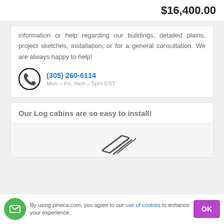$16,400.00
information or help regarding our buildings, detailed plans, project sketches, installation, or for a general consultation. We are always happy to help!
(305) 260-6114
Mon – Fri, 8am – 5pm EST
Our Log cabins are so easy to install!
[Figure (illustration): Partial view of a log cabin schematic illustration]
By using pineca.com, you agree to our use of cookies to enhance your experience.